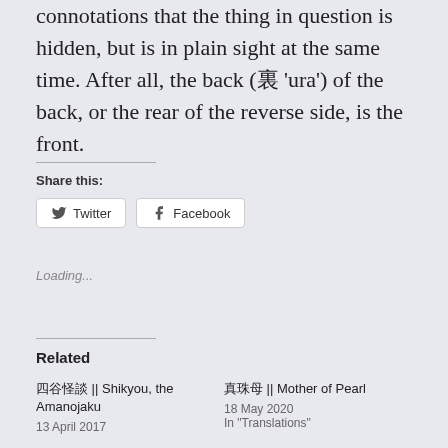connotations that the thing in question is hidden, but is in plain sight at the same time. After all, the back (裏 'ura') of the back, or the rear of the reverse side, is the front.
Share this:
Twitter  Facebook
Loading...
Related
四谷怪談 || Shikyou, the Amanojaku
13 April 2017
真珠母 || Mother of Pearl
18 May 2020
In "Translations"